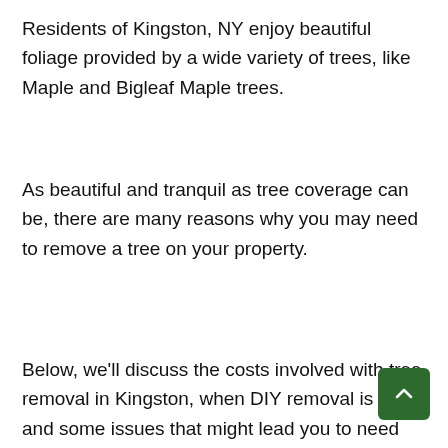Residents of Kingston, NY enjoy beautiful foliage provided by a wide variety of trees, like Maple and Bigleaf Maple trees.
As beautiful and tranquil as tree coverage can be, there are many reasons why you may need to remove a tree on your property.
Below, we'll discuss the costs involved with tree removal in Kingston, when DIY removal is okay, and some issues that might lead you to need removal servi...
We'll also discuss New York State law...